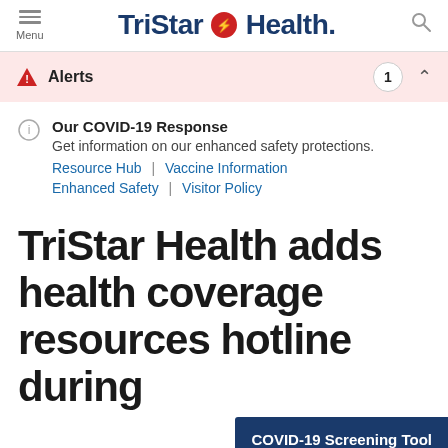TriStar Health — Menu / Search navigation
Alerts 1
Our COVID-19 Response
Get information on our enhanced safety protections.
Resource Hub | Vaccine Information
Enhanced Safety | Visitor Policy
TriStar Health adds health coverage resources hotline during
COVID-19 Screening Tool